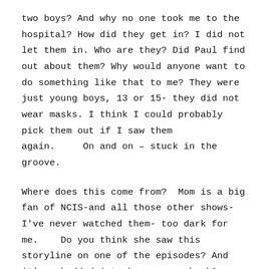two boys? And why no one took me to the hospital? How did they get in? I did not let them in. Who are they? Did Paul find out about them? Why would anyone want to do something like that to me? They were just young boys, 13 or 15- they did not wear masks. I think I could probably pick them out if I saw them again.     On and on – stuck in the groove.
Where does this come from?  Mom is a big fan of NCIS-and all those other shows-I've never watched them- too dark for me.    Do you think she saw this storyline on one of the episodes? And it's embedded into her memory bank?